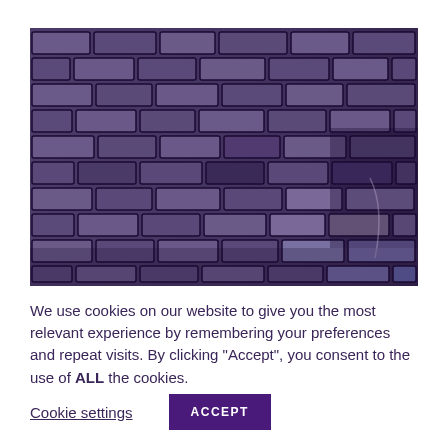[Figure (photo): A brick wall photograph with a purple/dark violet tint. The bricks are arranged in a standard running bond pattern. There is some weathering and discoloration visible on the right side of the wall.]
We use cookies on our website to give you the most relevant experience by remembering your preferences and repeat visits. By clicking “Accept”, you consent to the use of ALL the cookies.
Cookie settings   ACCEPT